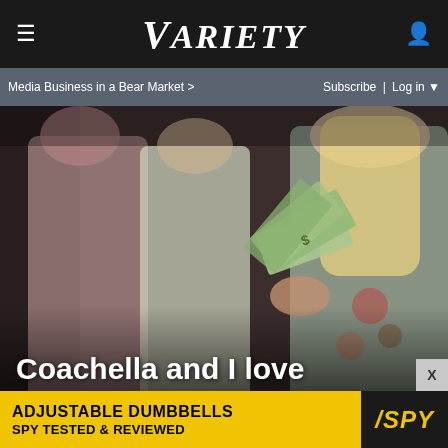VARIETY
Media Business in a Bear Market >   Subscribe | Log in ▼
[Figure (photo): Two women at a party/festival; the woman on the right has long blonde hair and is holding a fan of dollar bills, wearing a floral vest top. The woman on the left wears a lace outfit.]
Coachella and I love
ADJUSTABLE DUMBBELLS SPY TESTED & REVIEWED / SPY